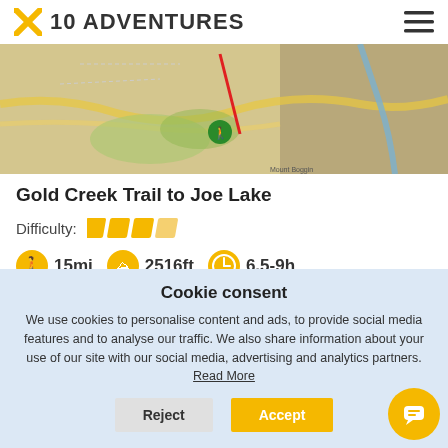10 ADVENTURES
[Figure (map): Topographic trail map showing Gold Creek Trail to Joe Lake area with a red route marker and hiker icon]
Gold Creek Trail to Joe Lake
Difficulty: [4 difficulty bars shown]
15mi  2516ft  6.5-9h
Gold Creek Trail to Joe Lake is not a hike for the faint of
Cookie consent
We use cookies to personalise content and ads, to provide social media features and to analyse our traffic. We also share information about your use of our site with our social media, advertising and analytics partners. Read More
Reject  Accept